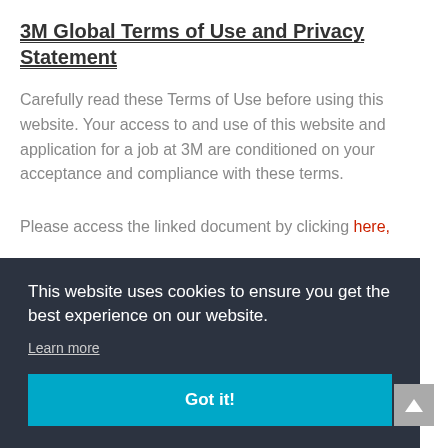3M Global Terms of Use and Privacy Statement
Carefully read these Terms of Use before using this website. Your access to and use of this website and application for a job at 3M are conditioned on your acceptance and compliance with these terms.
Please access the linked document by clicking here,
This website uses cookies to ensure you get the best experience on our website.
Learn more
Got it!